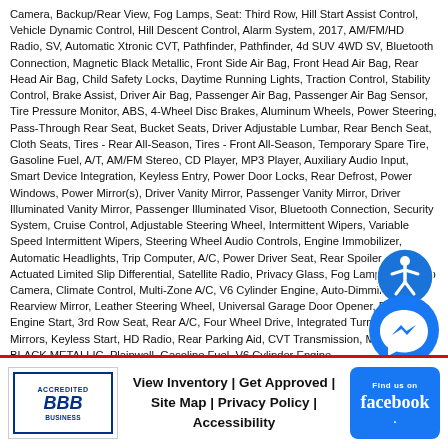Camera, Backup/Rear View, Fog Lamps, Seat: Third Row, Hill Start Assist Control, Vehicle Dynamic Control, Hill Descent Control, Alarm System, 2017, AM/FM/HD Radio, SV, Automatic Xtronic CVT, Pathfinder, Pathfinder, 4d SUV 4WD SV, Bluetooth Connection, Magnetic Black Metallic, Front Side Air Bag, Front Head Air Bag, Rear Head Air Bag, Child Safety Locks, Daytime Running Lights, Traction Control, Stability Control, Brake Assist, Driver Air Bag, Passenger Air Bag, Passenger Air Bag Sensor, Tire Pressure Monitor, ABS, 4-Wheel Disc Brakes, Aluminum Wheels, Power Steering, Pass-Through Rear Seat, Bucket Seats, Driver Adjustable Lumbar, Rear Bench Seat, Cloth Seats, Tires - Rear All-Season, Tires - Front All-Season, Temporary Spare Tire, Gasoline Fuel, A/T, AM/FM Stereo, CD Player, MP3 Player, Auxiliary Audio Input, Smart Device Integration, Keyless Entry, Power Door Locks, Rear Defrost, Power Windows, Power Mirror(s), Driver Vanity Mirror, Passenger Vanity Mirror, Driver Illuminated Vanity Mirror, Passenger Illuminated Visor, Bluetooth Connection, Security System, Cruise Control, Adjustable Steering Wheel, Intermittent Wipers, Variable Speed Intermittent Wipers, Steering Wheel Audio Controls, Engine Immobilizer, Automatic Headlights, Trip Computer, A/C, Power Driver Seat, Rear Spoiler, Brake Actuated Limited Slip Differential, Satellite Radio, Privacy Glass, Fog Lamps, Back-Up Camera, Climate Control, Multi-Zone A/C, V6 Cylinder Engine, Auto-Dimming Rearview Mirror, Leather Steering Wheel, Universal Garage Door Opener, Remote Engine Start, 3rd Row Seat, Rear A/C, Four Wheel Drive, Integrated Turn Signal Mirrors, Keyless Start, HD Radio, Rear Parking Aid, CVT Transmission, MAGNETIC BLACK METALLIC, Plainwell, Gasoline Fuel, V6 Cylinder Engine
View Inventory | Get Approved | Site Map | Privacy Policy | Accessibility